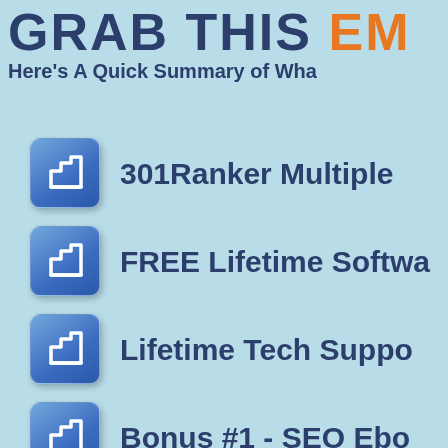GRAB THIS [truncated]
Here's A Quick Summary of Wha...
301Ranker Multiple...
FREE Lifetime Softwa...
Lifetime Tech Suppo...
Bonus #1 - SEO Ebo...
Bonus #2 - Facebook...